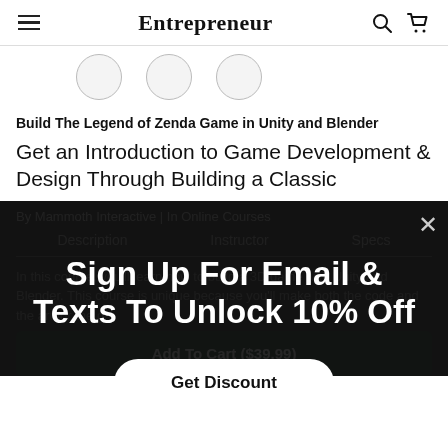Entrepreneur
[Figure (illustration): Three circular avatar placeholders in a row]
Build The Legend of Zenda Game in Unity and Blender
Get an Introduction to Game Development & Design Through Building a Classic
By Mammoth Interactive | In Online Courses
Description	Instructor	Specs
[Figure (screenshot): Modal popup overlay with text 'Sign Up For Email & Texts To Unlock 10% Off' and a 'Get Discount' button]
In this course, you'll learn how to build a 3D game with Unity and Blender. This course is unique because you'll make both the code and the art for the game. You'll create 'The
Add To Cart ($39.99)